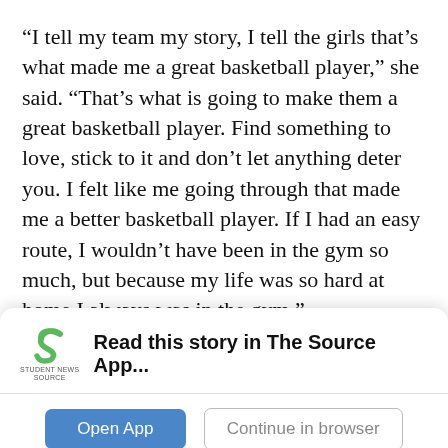“I tell my team my story, I tell the girls that’s what made me a great basketball player,” she said. “That’s what is going to make them a great basketball player. Find something to love, stick to it and don’t let anything deter you. I felt like me going through that made me a better basketball player. If I had an easy route, I wouldn’t have been in the gym so much, but because my life was so hard at home I always was in the gym.”
Mouchbank had other job offers after she
[Figure (logo): Student News Source logo — green S shape with 'STUDENT NEWS SOURCE' text below]
Read this story in The Source App...
Open App
Continue in browser